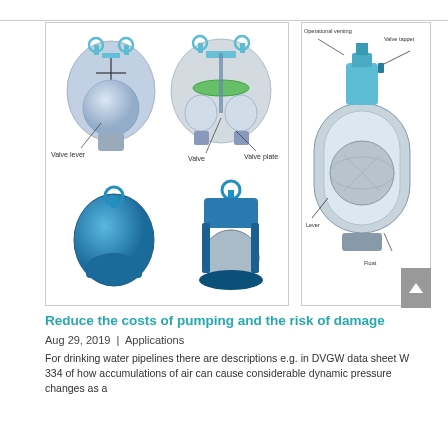[Figure (engineering-diagram): Top half: Two-part engineering diagram of a ball float valve. Left shows external view with labels 'Valve lever'. Right shows cross-section with labels 'Valve' and 'Valve plate'. Bottom half: Two 3D rendered views of a ball float valve in blue.]
[Figure (engineering-diagram): Cross-section diagram of a float valve assembly with labels: 'Operational venting' (top left), 'Valve tappet' (top right), 'Lever' (bottom left), 'Float' (bottom right). Shows internal ball float mechanism.]
Reduce the costs of pumping and the risk of damage
Aug 29, 2019  |  Applications
For drinking water pipelines there are descriptions e.g. in DVGW data sheet W 334 of how accumulations of air can cause considerable dynamic pressure changes as a